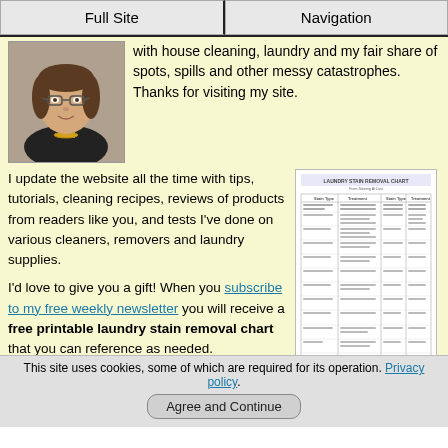Full Site | Navigation
with house cleaning, laundry and my fair share of spots, spills and other messy catastrophes. Thanks for visiting my site.
I update the website all the time with tips, tutorials, cleaning recipes, reviews of products from readers like you, and tests I've done on various cleaners, removers and laundry supplies.
[Figure (table-as-image): Laundry Stain Removal Chart thumbnail showing a multi-column reference chart]
I'd love to give you a gift! When you subscribe to my free weekly newsletter you will receive a free printable laundry stain removal chart that you can reference as needed.
[Get your free chart here]
I hope you enjoy this gift, and stop by again soon!
This site uses cookies, some of which are required for its operation. Privacy policy. Agree and Continue